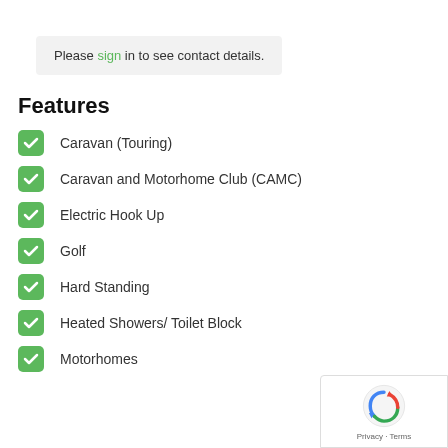Please sign in to see contact details.
Features
Caravan (Touring)
Caravan and Motorhome Club (CAMC)
Electric Hook Up
Golf
Hard Standing
Heated Showers/ Toilet Block
Motorhomes